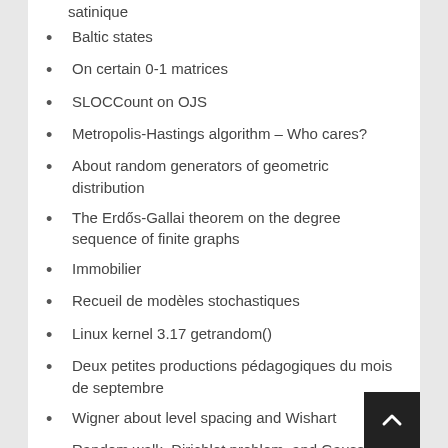satinique
Baltic states
On certain 0-1 matrices
SLOCCount on OJS
Metropolis-Hastings algorithm – Who cares?
About random generators of geometric distribution
The Erdős-Gallai theorem on the degree sequence of finite graphs
Immobilier
Recueil de modèles stochastiques
Linux kernel 3.17 getrandom()
Deux petites productions pédagogiques du mois de septembre
Wigner about level spacing and Wishart
Random walk, Dirichlet problem, and Gaussian free field
À bicyclette…
Probability and arXiv ubiquity in 2014 Fields medals
Mathematical citation quotient of statistics